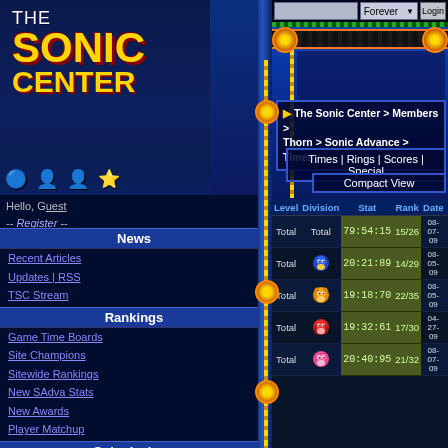[Figure (screenshot): The Sonic Center website logo with Sonic characters on dark blue background]
Hello, Guest
-- Register --
News
Recent Articles
Updates | RSS
TSC Stream
Rankings
Game Time Boards
Site Champions
Sitewide Rankings
New SAdva Stats
New Awards
Player Matchup
Submissions
Competition Rules
Statistics
Guides
Videos
Media
176 SAdva Videos
3 SAdva Guides
27 SAdva Maps
Members
Site Contributors
Prominent Members
Forum
The Sonic Center > Members > Thorn > Sonic Advance > Times
Times | Rings | Scores | Special
Compact View
| Level | Division | Stat | Rank | Date | P |
| --- | --- | --- | --- | --- | --- |
| Total | Total | 79:54:15 | 15/26 | 08-07-09 | 4 (-... |
| Total | (Sonic icon) | 20:21:89 | 14/29 | 08-05-09 | 1 (-... |
| Total | (Tails icon) | 19:18:70 | 22/35 | 08-05-09 | 1 (-... |
| Total | (Knuckles icon) | 19:32:61 | 17/30 | 04-27-09 | 1 (-... |
| Total | (Amy icon) | 20:40:95 | 21/32 | 08-07-09 | 1 (-... |